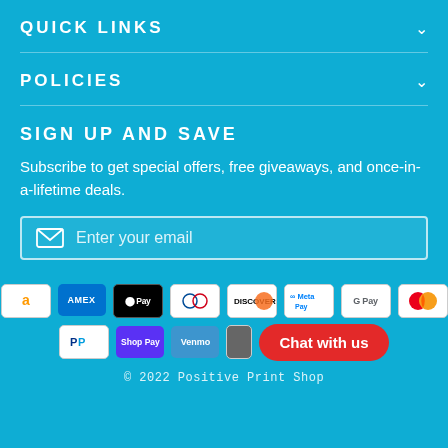QUICK LINKS
POLICIES
SIGN UP AND SAVE
Subscribe to get special offers, free giveaways, and once-in-a-lifetime deals.
Enter your email
[Figure (infographic): Payment method icons: Amazon Pay, Amex, Apple Pay, Diners Club, Discover, Meta Pay, Google Pay, Mastercard, PayPal, Shop Pay, Venmo, and a red Chat with us button]
© 2022 Positive Print Shop